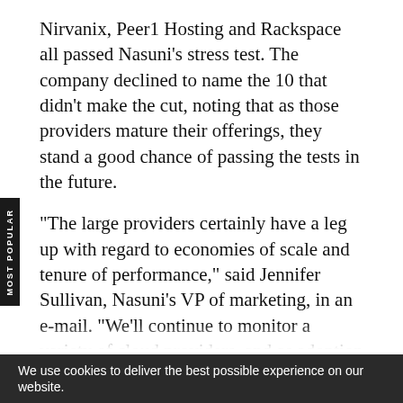Nirvanix, Peer1 Hosting and Rackspace all passed Nasuni's stress test. The company declined to name the 10 that didn't make the cut, noting that as those providers mature their offerings, they stand a good chance of passing the tests in the future.
"The large providers certainly have a leg up with regard to economies of scale and tenure of performance," said Jennifer Sullivan, Nasuni's VP of marketing, in an e-mail. "We'll continue to monitor a variety of cloud providers, and as adoption of the cloud increases (e.g., different use cases for the use of cloud in organizations emerge), this will help shape what cloud storage has to become to be adopted and embraced by the enterprise."
Nasuni has maintained that the cloud is merely a component of an overall storage solution
We use cookies to deliver the best possible experience on our website.